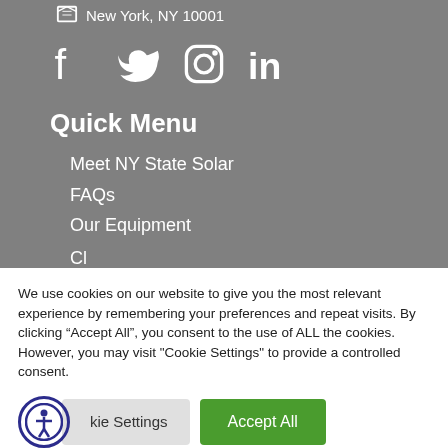New York, NY 10001
[Figure (illustration): Social media icons: Facebook, Twitter, Instagram, LinkedIn in white on gray background]
Quick Menu
Meet NY State Solar
FAQs
Our Equipment
We use cookies on our website to give you the most relevant experience by remembering your preferences and repeat visits. By clicking “Accept All”, you consent to the use of ALL the cookies. However, you may visit "Cookie Settings" to provide a controlled consent.
[Figure (illustration): Accessibility icon button (person in circle), Cookie Settings button, Accept All green button]